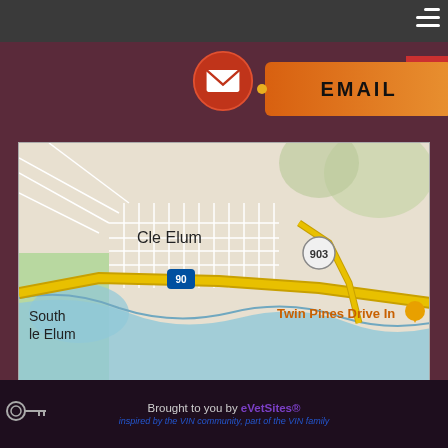[Figure (screenshot): Website screenshot showing an EMAIL button with envelope icon, a Google Maps embed showing Cle Elum and South Cle Elum area with Twin Pines Drive In marker, accessibility icon, hamburger menu, and footer with eVetSites branding]
Brought to you by eVetSites® Inspired by the VIN community, part of the VIN family